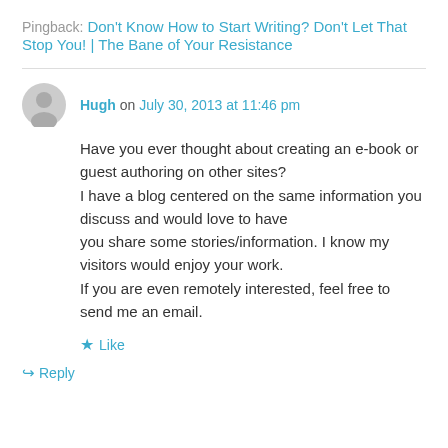Pingback: Don't Know How to Start Writing? Don't Let That Stop You! | The Bane of Your Resistance
Hugh on July 30, 2013 at 11:46 pm
Have you ever thought about creating an e-book or guest authoring on other sites? I have a blog centered on the same information you discuss and would love to have you share some stories/information. I know my visitors would enjoy your work. If you are even remotely interested, feel free to send me an email.
★ Like
↳ Reply